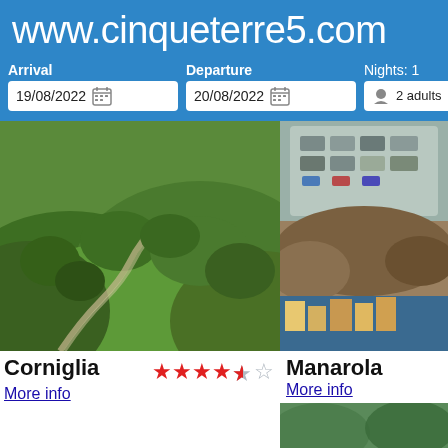www.cinqueterre5.com
Arrival 19/08/2022
Departure 20/08/2022
Nights: 1  2 adults
[Figure (photo): Aerial view of green hillside with winding road — Corniglia area]
Corniglia ★★★★½
More info
[Figure (photo): Aerial/overhead view of coastal town with parking area — Manarola area]
Manarola
More info
[Figure (photo): Colorful buildings of a Cinque Terre coastal village]